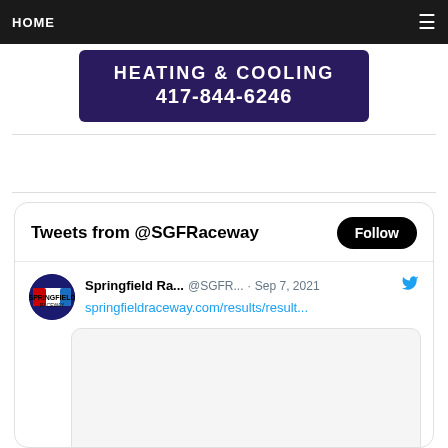HOME
[Figure (photo): Advertisement banner showing heating and cooling business with phone number 417-844-6246 on dark purple background]
[Figure (screenshot): Twitter/X widget showing tweets from @SGFRaceway with a Follow button, tweet from Springfield Ra... @SGFR... Sep 7, 2021 with link springfieldraceway.com/results/result...]